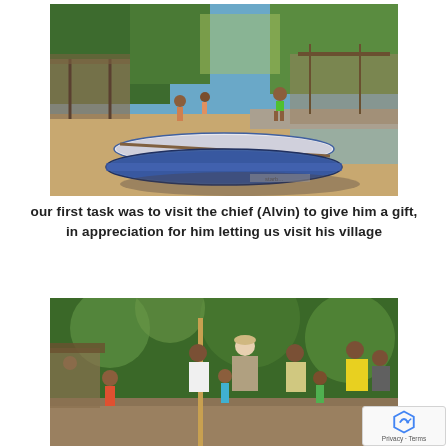[Figure (photo): Outdoor scene of a coastal village with sandy ground, children playing, and two paddleboards (SUP boards, one branded 'Starboard' or similar) lying on the ground. Trees and makeshift wooden structures visible in the background near water.]
our first task was to visit the chief (Alvin) to give him a gift, in appreciation for him letting us visit his village
[Figure (photo): Group of people, including local villagers and visitors, gathered outdoors under trees in what appears to be a tropical village setting. A man in a tan cap and white shirt is visible, along with others including children.]